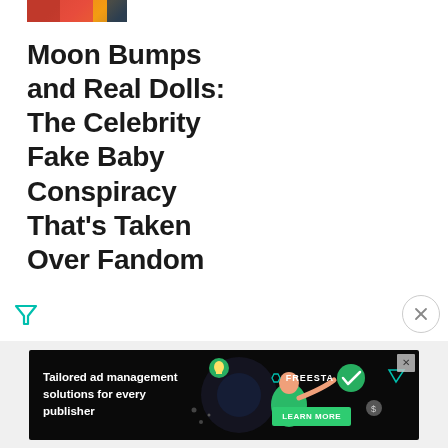[Figure (photo): Small cropped photo showing people in colorful outfits, red and dark tones]
Moon Bumps and Real Dolls: The Celebrity Fake Baby Conspiracy That's Taken Over Fandom
[Figure (other): Filter/sort icon (teal triangle/funnel shape) at bottom left]
[Figure (other): Close/X button circle at bottom right]
[Figure (other): Advertisement banner: Tailored ad management solutions for every publisher - Freestar LEARN MORE]